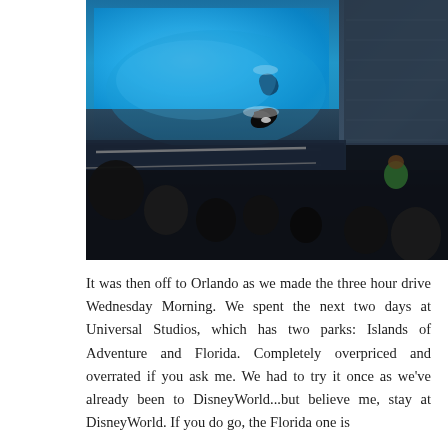[Figure (photo): A photograph taken from the audience seating area at what appears to be a SeaWorld orca show. The bright blue pool with an orca is visible in the upper portion, with a large crowd of spectators filling stadium seating to the right and foreground.]
It was then off to Orlando as we made the three hour drive Wednesday Morning. We spent the next two days at Universal Studios, which has two parks: Islands of Adventure and Florida. Completely overpriced and overrated if you ask me. We had to try it once as we've already been to DisneyWorld...but believe me, stay at DisneyWorld. If you do go, the Florida one is